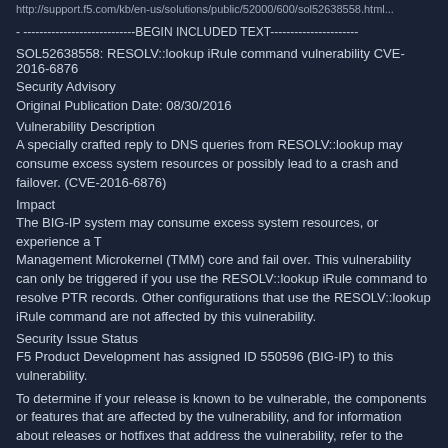http://support.f5.com/kb/en-us/solutions/public/52000/600/sol52638558.html...
- ----------------------------BEGIN INCLUDED TEXT----------------------
SOL52638558: RESOLV::lookup iRule command vulnerability CVE-2016-6876
Security Advisory
Original Publication Date: 08/30/2016
Vulnerability Description
A specially crafted reply to DNS queries from RESOLV::lookup may consume excess system resources or possibly lead to a crash and failover. (CVE-2016-6876)
Impact
The BIG-IP system may consume excess system resources, or experience a Traffic Management Microkernel (TMM) core and fail over. This vulnerability can only be triggered if you use the RESOLV::lookup iRule command to resolve PTR records. Other configurations that use the RESOLV::lookup iRule command are not affected by this vulnerability.
Security Issue Status
F5 Product Development has assigned ID 550596 (BIG-IP) to this vulnerability.
To determine if your release is known to be vulnerable, the components or features that are affected by the vulnerability, and for information about releases or hotfixes that address the vulnerability, refer to the following table: